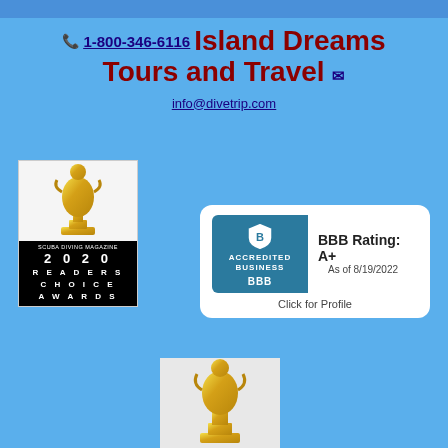1-800-346-6116 Island Dreams Tours and Travel
info@divetrip.com
[Figure (photo): Gold trophy award statue with black base showing Scuba Diving Magazine 2020 Readers Choice Awards]
[Figure (logo): BBB Accredited Business logo with BBB Rating: A+ As of 8/19/2022, Click for Profile]
[Figure (photo): Gold trophy award statue, partial view at bottom of page]